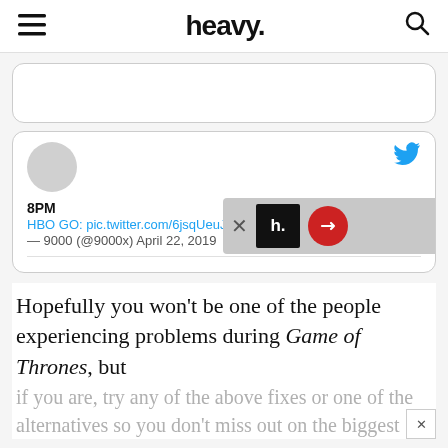heavy.
[Figure (screenshot): Empty tweet card (top, partially visible)]
[Figure (screenshot): Tweet card: 8PM, HBO GO: pic.twitter.com/6jsqUeuJs — 9000 (@9000x) April 22, 2019, with Twitter bird icon and heavy. ad overlay]
Hopefully you won't be one of the people experiencing problems during Game of Thrones, but if you are, try any of the above fixes or one of the alternatives so you don't miss out on the biggest